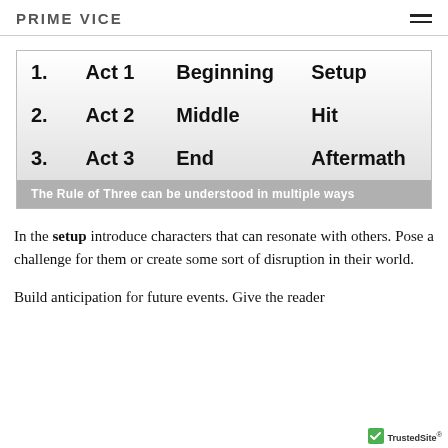PRIME VICE
| 1. | Act 1 | Beginning | Setup |
| 2. | Act 2 | Middle | Hit |
| 3. | Act 3 | End | Aftermath |
The Rule of Three can be understood in multiple ways
In the setup introduce characters that can resonate with others. Pose a challenge for them or create some sort of disruption in their world.
Build anticipation for future events. Give the reader something before you go to...